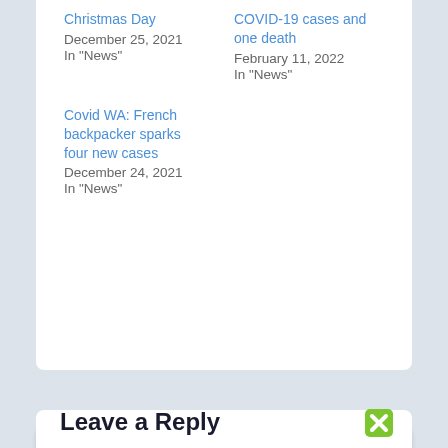Christmas Day
December 25, 2021
In "News"
COVID-19 cases and one death
February 11, 2022
In "News"
Covid WA: French backpacker sparks four new cases
December 24, 2021
In "News"
← Previous
Next →
Leave a Reply